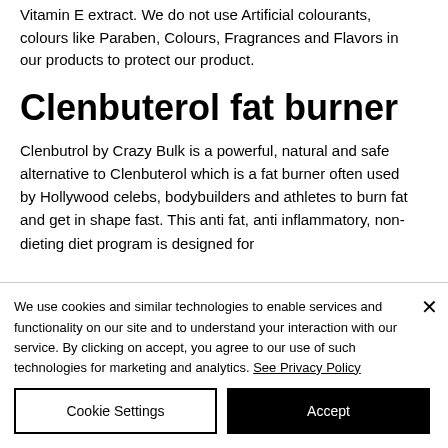Vitamin E extract. We do not use Artificial colourants, colours like Paraben, Colours, Fragrances and Flavors in our products to protect our product.
Clenbuterol fat burner
Clenbutrol by Crazy Bulk is a powerful, natural and safe alternative to Clenbuterol which is a fat burner often used by Hollywood celebs, bodybuilders and athletes to burn fat and get in shape fast. This anti fat, anti inflammatory, non-dieting diet program is designed for
We use cookies and similar technologies to enable services and functionality on our site and to understand your interaction with our service. By clicking on accept, you agree to our use of such technologies for marketing and analytics. See Privacy Policy
Cookie Settings
Accept